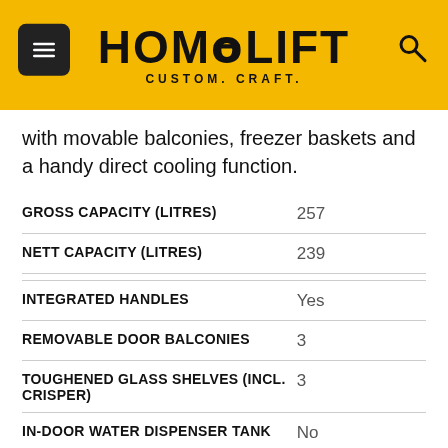HOMELIFT CUSTOM. CRAFT.
with movable balconies, freezer baskets and a handy direct cooling function.
| Specification | Value |
| --- | --- |
| GROSS CAPACITY (LITRES) | 257 |
| NETT CAPACITY (LITRES) | 239 |
| INTEGRATED HANDLES | Yes |
| REMOVABLE DOOR BALCONIES | 3 |
| TOUGHENED GLASS SHELVES (INCL. CRISPER) | 3 |
| IN-DOOR WATER DISPENSER TANK | No |
| ADDITIONAL SHELF | No |
| CRISPER DRAWER | 1 |